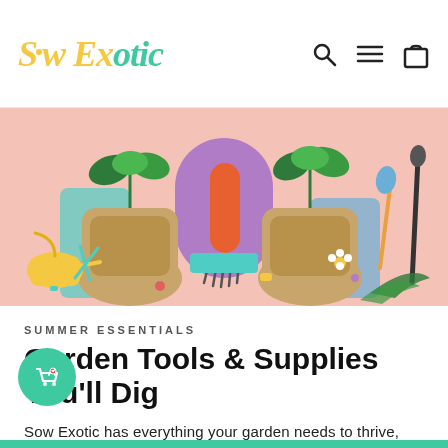Sow Exotic — navigation bar with search, menu, and cart icons
[Figure (photo): Colorful flat-lay hero image on a pink background featuring burlap sacks with tropical plants, garden tools including a rake, watering can, trowel, shears, colorful geometric shapes, and small decorative flowers.]
SUMMER ESSENTIALS
Garden Tools & Supplies You'll Dig
Sow Exotic has everything your garden needs to thrive, from planting to harvest, professional garden tools to organic fertilizers and soil amendments.